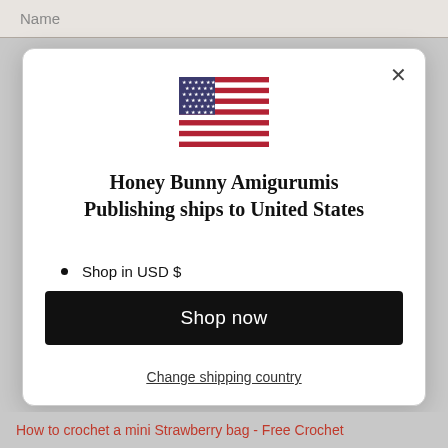Name
[Figure (illustration): US flag SVG icon centered in modal]
Honey Bunny Amigurumis Publishing ships to United States
Shop in USD $
Get shipping options for United States
Shop now
Change shipping country
How to crochet a mini Strawberry bag - Free Crochet